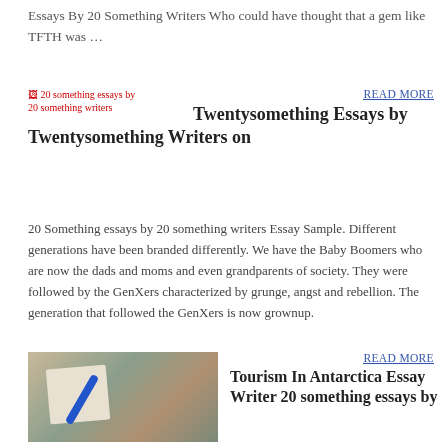Essays By 20 Something Writers Who could have thought that a gem like TFTH was …
[Figure (photo): Broken image placeholder for '20 something essays by 20 something writers']
READ MORE
Twentysomething Essays by Twentysomething Writers on
20 Something essays by 20 something writers Essay Sample. Different generations have been branded differently. We have the Baby Boomers who are now the dads and moms and even grandparents of society. They were followed by the GenXers characterized by grunge, angst and rebellion. The generation that followed the GenXers is now grownup.
[Figure (photo): Person writing with a blue pen on paper, with coffee and tablet on a wooden table]
READ MORE
Tourism In Antarctica Essay Writer 20 something essays by